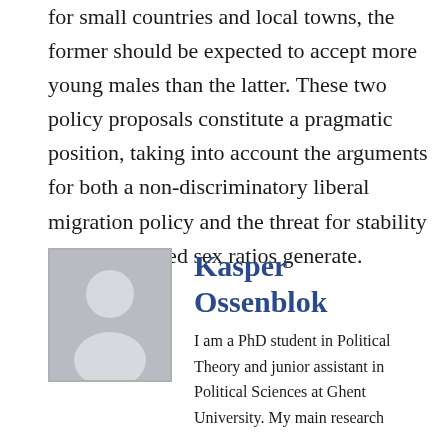for small countries and local towns, the former should be expected to accept more young males than the latter. These two policy proposals constitute a pragmatic position, taking into account the arguments for both a non-discriminatory liberal migration policy and the threat for stability that imbalanced sex ratios generate.
[Figure (photo): Placeholder avatar image of a person silhouette in gray]
Kasper Ossenblok
I am a PhD student in Political Theory and junior assistant in Political Sciences at Ghent University. My main research